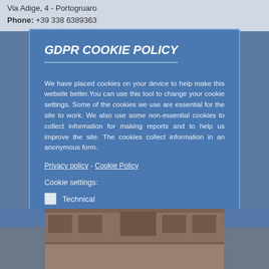Via Adige, 4 - Portogruaro
Phone: +39 338 6389363
GDPR COOKIE POLICY
We have placed cookies on your device to help make this website better. You can use this tool to change your cookie settings. Some of the cookies we use are essential for the site to work. We also use some non-essential cookies to collect information for making reports and to help us improve the site. The cookies collect information in an anonymous form.
Privacy policy - Cookie Policy
Cookie settings:
Technical
Analytic
Marketing
Ok, i'm fine with this
[Figure (photo): Partial view of a building exterior, brick facade, taken from below against a blue sky background]